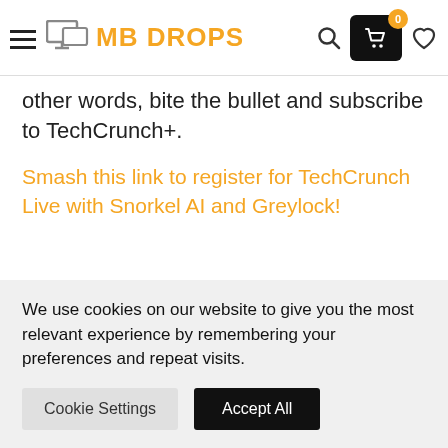MB DROPS — navigation header with hamburger menu, logo, search, cart (0), and heart icons
other words, bite the bullet and subscribe to TechCrunch+.
Smash this link to register for TechCrunch Live with Snorkel AI and Greylock!
Source link
We use cookies on our website to give you the most relevant experience by remembering your preferences and repeat visits.